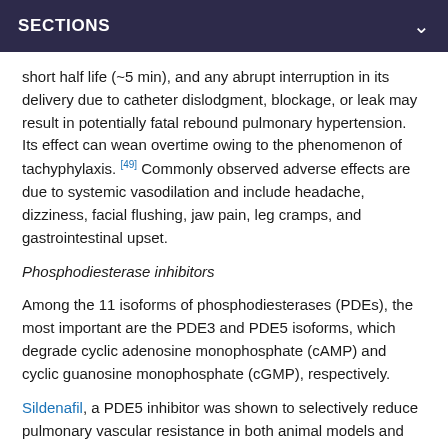SECTIONS
short half life (~5 min), and any abrupt interruption in its delivery due to catheter dislodgment, blockage, or leak may result in potentially fatal rebound pulmonary hypertension. Its effect can wean overtime owing to the phenomenon of tachyphylaxis. [49] Commonly observed adverse effects are due to systemic vasodilation and include headache, dizziness, facial flushing, jaw pain, leg cramps, and gastrointestinal upset.
Phosphodiesterase inhibitors
Among the 11 isoforms of phosphodiesterases (PDEs), the most important are the PDE3 and PDE5 isoforms, which degrade cyclic adenosine monophosphate (cAMP) and cyclic guanosine monophosphate (cGMP), respectively.
Sildenafil, a PDE5 inhibitor was shown to selectively reduce pulmonary vascular resistance in both animal models and adult humans. It also has been reported to be successful in the treatment of infants with PPHN. [50] It is